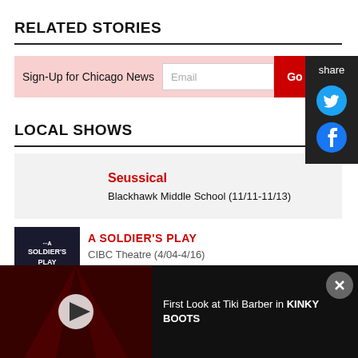RELATED STORIES
Sign-Up for Chicago News  [Email input]  [Go button]
LOCAL SHOWS
Seussical
Blackhawk Middle School (11/11-11/13)
A SOLDIER'S PLAY
CIBC Theatre (4/04-4/16)
First Look at Tiki Barber in KINKY BOOTS